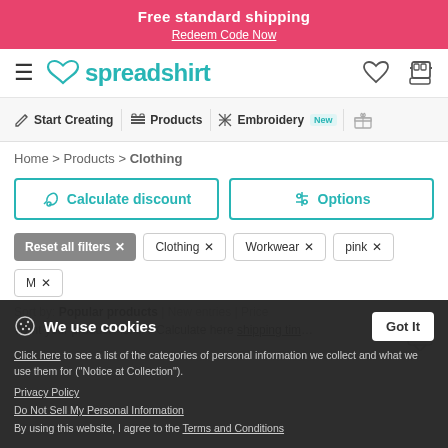Free standard shipping
Redeem Code Now
[Figure (screenshot): Spreadshirt logo with teal heart icon]
Start Creating | Products | Embroidery New
Home > Products > Clothing
Calculate discount | Options
Reset all filters × | Clothing × | Workwear × | pink × | M ×
Sort by: Popular products | New entries | Price
Want your product ASAP? Calculate here shipping tim...
We use cookies
Click here to see a list of the categories of personal information we collect and what we use them for ("Notice at Collection").
Privacy Policy
Do Not Sell My Personal Information
By using this website, I agree to the Terms and Conditions